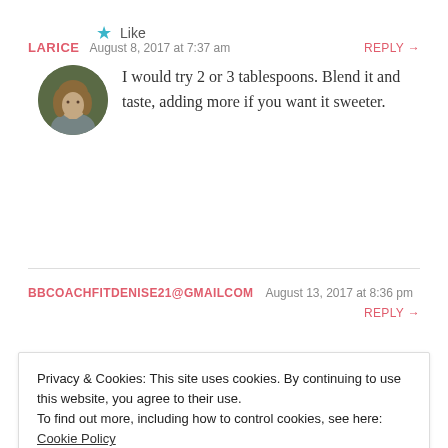LARICE  August 8, 2017 at 7:37 am  REPLY →
[Figure (photo): Circular avatar photo of a woman with long hair in a grey top]
I would try 2 or 3 tablespoons. Blend it and taste, adding more if you want it sweeter.
★ Like
BBCOACHFITDENISE21@GMAILCOM  August 13, 2017 at 8:36 pm  REPLY →
Privacy & Cookies: This site uses cookies. By continuing to use this website, you agree to their use.
To find out more, including how to control cookies, see here: Cookie Policy
Close and accept
★ Liked by 1 person